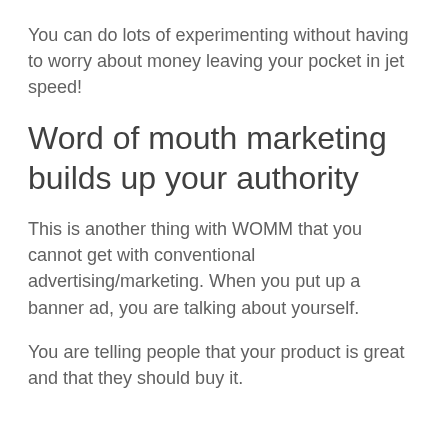You can do lots of experimenting without having to worry about money leaving your pocket in jet speed!
Word of mouth marketing builds up your authority
This is another thing with WOMM that you cannot get with conventional advertising/marketing. When you put up a banner ad, you are talking about yourself.
You are telling people that your product is great and that they should buy it.